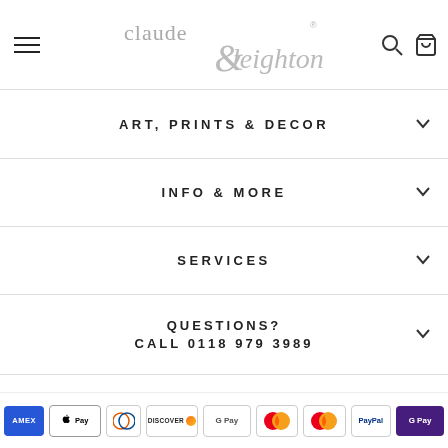claude & leighton — navigation header with hamburger menu, logo, search and cart icons
ART, PRINTS & DECOR
INFO & MORE
SERVICES
QUESTIONS? CALL 0118 979 3989
Payment icons: AMEX, Apple Pay, Diners, Discover, Google Pay, Mastercard (x2), PayPal, G Pay